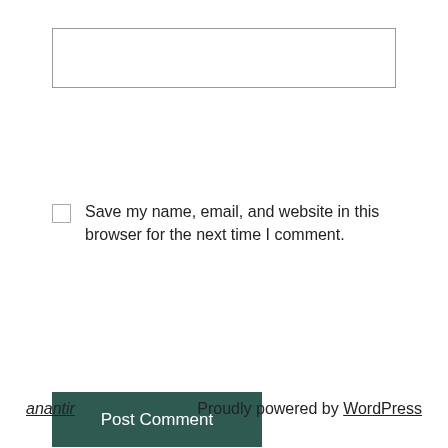[Figure (screenshot): Empty text input box with border]
Save my name, email, and website in this browser for the next time I comment.
[Figure (screenshot): Post Comment button with dark teal background]
anantir   Proudly powered by WordPress